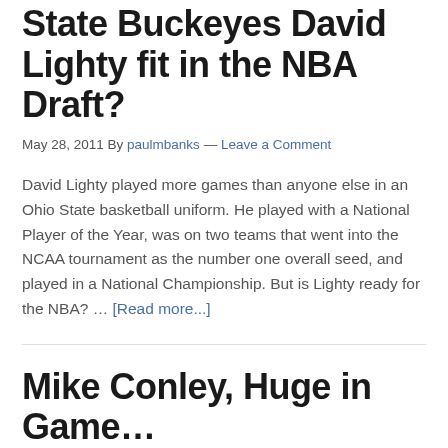State Buckeyes David Lighty fit in the NBA Draft?
May 28, 2011 By paulmbanks — Leave a Comment
David Lighty played more games than anyone else in an Ohio State basketball uniform. He played with a National Player of the Year, was on two teams that went into the NCAA tournament as the number one overall seed, and played in a National Championship. But is Lighty ready for the NBA? … [Read more...]
Mike Conley, Huge in